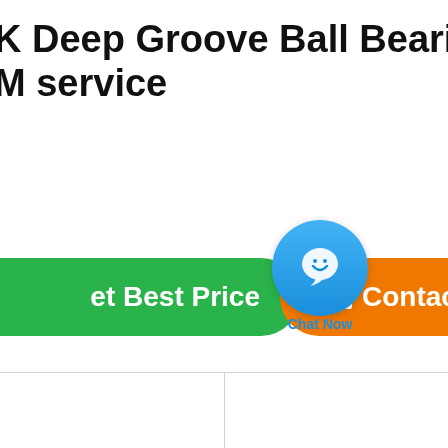K Deep Groove Ball Bearing Sin M service
[Figure (screenshot): Green 'Get Best Price' button on the left, blue chat bubble widget labeled 'Chat Now' in the center, and orange 'Contact' button on the right]
[Figure (other): Bottom section showing two empty white table columns separated by a gray vertical divider line, with gray horizontal top border]